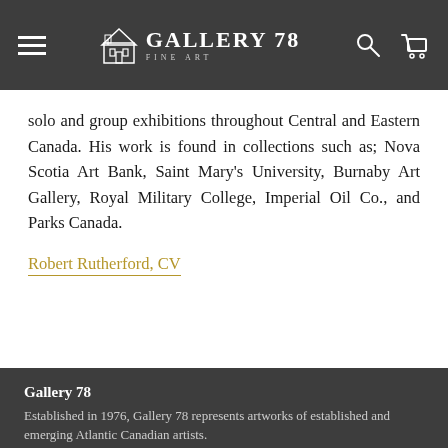Gallery 78 Fine Art — navigation bar with hamburger menu, logo, search and cart icons
solo and group exhibitions throughout Central and Eastern Canada. His work is found in collections such as; Nova Scotia Art Bank, Saint Mary's University, Burnaby Art Gallery, Royal Military College, Imperial Oil Co., and Parks Canada.
Robert Rutherford, CV
Gallery 78
Established in 1976, Gallery 78 represents artworks of established and emerging Atlantic Canadian artists.
We are pleased to provide a range of fine art services including art consultation, framing, in-home trials, delivery,